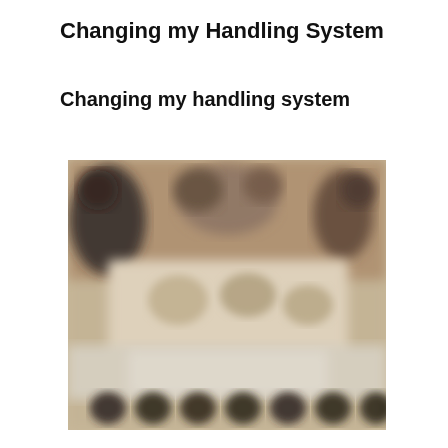Changing my Handling System
Changing my handling system
[Figure (photo): A blurred photograph showing people gathered around a table with various items and materials, likely in a workshop or classroom setting. Several people are visible working at the table. At the bottom of the image there appear to be rows of small dark objects.]